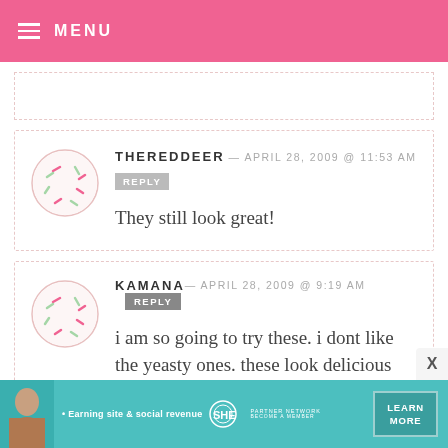MENU
THEREDDEER — APRIL 28, 2009 @ 11:53 AM
REPLY
They still look great!
KAMANA — APRIL 28, 2009 @ 9:19 AM
REPLY
i am so going to try these. i dont like the yeasty ones. these look delicious
[Figure (infographic): Advertisement banner: SHE Media Partner Network — Earning site & social revenue. LEARN MORE button. BECOME A MEMBER text.]